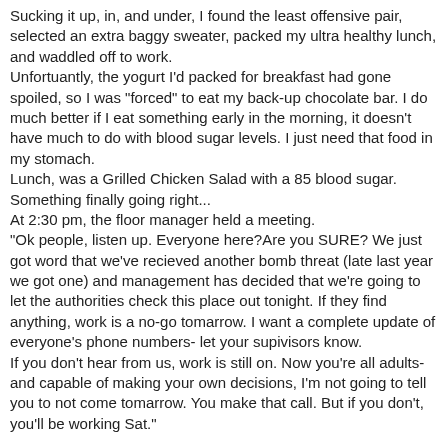Sucking it up, in, and under, I found the least offensive pair, selected an extra baggy sweater, packed my ultra healthy lunch, and waddled off to work. Unfortuantly, the yogurt I'd packed for breakfast had gone spoiled, so I was "forced" to eat my back-up chocolate bar. I do much better if I eat something early in the morning, it doesn't have much to do with blood sugar levels. I just need that food in my stomach. Lunch, was a Grilled Chicken Salad with a 85 blood sugar. Something finally going right... At 2:30 pm, the floor manager held a meeting. "Ok people, listen up. Everyone here?Are you SURE? We just got word that we've recieved another bomb threat (late last year we got one) and management has decided that we're going to let the authorities check this place out tonight. If they find anything, work is a no-go tomarrow. I want a complete update of everyone's phone numbers- let your supivisors know. If you don't hear from us, work is still on. Now you're all adults- and capable of making your own decisions, I'm not going to tell you to not come tomarrow. You make that call. But if you don't, you'll be working Sat."